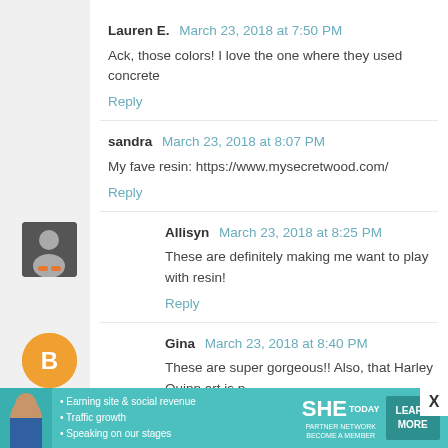Lauren E. March 23, 2018 at 7:50 PM
Ack, those colors! I love the one where they used concrete
Reply
sandra March 23, 2018 at 8:07 PM
My fave resin: https://www.mysecretwood.com/
Reply
[Figure (photo): Avatar image of Allisyn - small square photo]
Allisyn March 23, 2018 at 8:25 PM
These are definitely making me want to play with resin!
Reply
[Figure (photo): Avatar icon for Gina - orange circle with blogger B logo]
Gina March 23, 2018 at 8:40 PM
These are super gorgeous!! Also, that Harley Quinn art is p
Reply
[Figure (infographic): SHE Partner Network advertisement banner with bullet points: Earning site & social revenue, Traffic growth, Speaking on our stages. LEARN MORE button.]